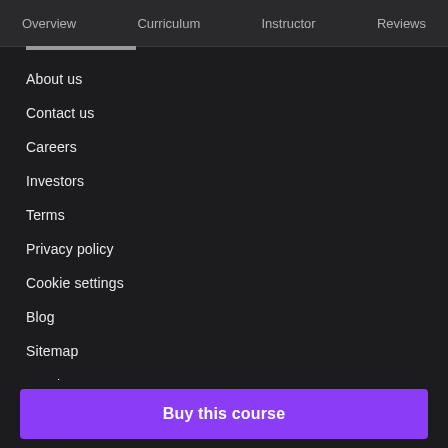Overview   Curriculum   Instructor   Reviews
About us
Contact us
Careers
Investors
Terms
Privacy policy
Cookie settings
Blog
Sitemap
Get the app
Accessibility statement
Buy this course